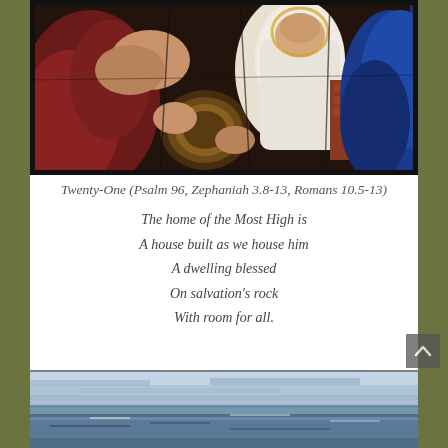[Figure (photo): Stained glass window depicting religious figures including a child (Christ child) held by figures in robes, showing hands holding a tambourine/drum, with rich colors of red, white, blue, and gold.]
Twenty-One (Psalm 96, Zephaniah 3.8-13, Romans 10.5-13)
The home of the Most High is
A house built as we house him
A dwelling blessed
On salvation's rock
With room for all.
[Figure (photo): Abstract landscape painting in shades of blue, grey, and white, resembling a seascape or sky with horizontal brushstrokes.]